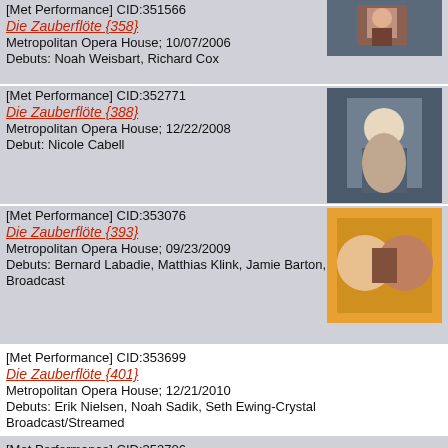[Met Performance] CID:351566
Die Zauberflöte {358}
Metropolitan Opera House; 10/07/2006
Debuts: Noah Weisbart, Richard Cox
[Figure (photo): Opera performance photo thumbnail for Die Zauberflöte {358}]
[Met Performance] CID:352771
Die Zauberflöte {388}
Metropolitan Opera House; 12/22/2008
Debut: Nicole Cabell
[Figure (photo): Opera performance photo thumbnail for Die Zauberflöte {388}]
[Met Performance] CID:353076
Die Zauberflöte {393}
Metropolitan Opera House; 09/23/2009
Debuts: Bernard Labadie, Matthias Klink, Jamie Barton, Georg Zeppenfeld
Broadcast
[Figure (photo): Opera performance photo thumbnail for Die Zauberflöte {393}]
[Met Performance] CID:353699
Die Zauberflöte {401}
Metropolitan Opera House; 12/21/2010
Debuts: Erik Nielsen, Noah Sadik, Seth Ewing-Crystal
Broadcast/Streamed
[Met Performance] CID:353706
Die Zauberflöte {402}
Metropolitan Opera House; 12/24/2010
[Met Performance] CID:353708